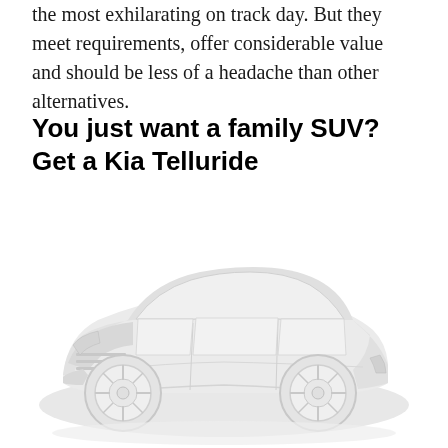the most exhilarating on track day. But they meet requirements, offer considerable value and should be less of a headache than other alternatives.
You just want a family SUV? Get a Kia Telluride
[Figure (illustration): Light gray illustration/silhouette of a Kia Telluride SUV shown from a front three-quarter angle, rendered in very light gray tones against a white background.]